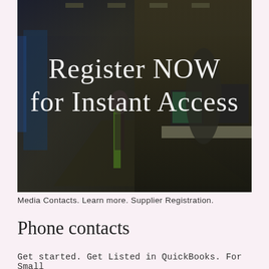[Figure (photo): Office interior photograph showing a corridor with cubicles on the left and workers at computer desks on the right, with overlaid white text reading 'Register NOW for Instant Access']
Media Contacts. Learn more. Supplier Registration.
Phone contacts
Get started. Get Listed in QuickBooks. For Small